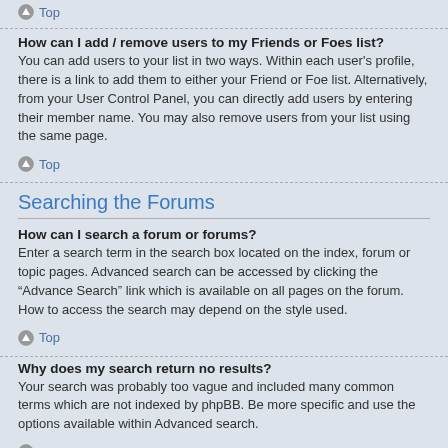Top
How can I add / remove users to my Friends or Foes list?
You can add users to your list in two ways. Within each user's profile, there is a link to add them to either your Friend or Foe list. Alternatively, from your User Control Panel, you can directly add users by entering their member name. You may also remove users from your list using the same page.
Top
Searching the Forums
How can I search a forum or forums?
Enter a search term in the search box located on the index, forum or topic pages. Advanced search can be accessed by clicking the “Advance Search” link which is available on all pages on the forum. How to access the search may depend on the style used.
Top
Why does my search return no results?
Your search was probably too vague and included many common terms which are not indexed by phpBB. Be more specific and use the options available within Advanced search.
Top